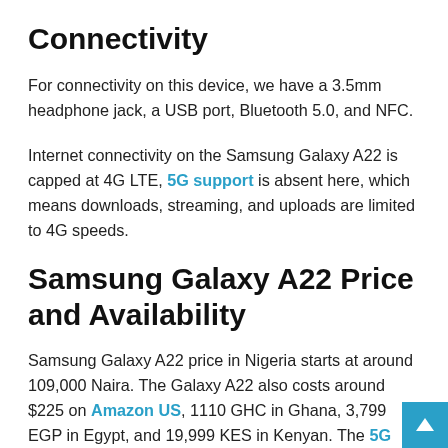Connectivity
For connectivity on this device, we have a 3.5mm headphone jack, a USB port, Bluetooth 5.0, and NFC.
Internet connectivity on the Samsung Galaxy A22 is capped at 4G LTE, 5G support is absent here, which means downloads, streaming, and uploads are limited to 4G speeds.
Samsung Galaxy A22 Price and Availability
Samsung Galaxy A22 price in Nigeria starts at around 109,000 Naira. The Galaxy A22 also costs around $225 on Amazon US, 1110 GHC in Ghana, 3,799 EGP in Egypt, and 19,999 KES in Kenyan. The 5G model is also available on